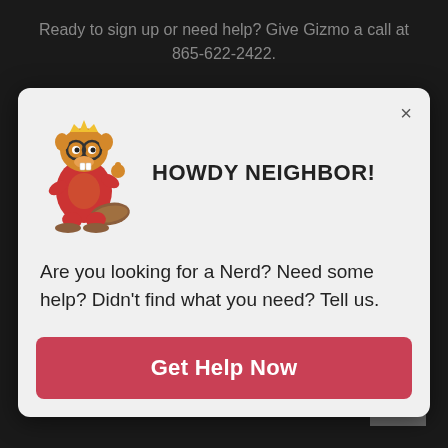Ready to sign up or need help? Give Gizmo a call at 865-622-2422.
[Figure (screenshot): Modal dialog with beaver mascot illustration, 'HOWDY NEIGHBOR!' heading, body text, and a red 'Get Help Now' button]
your money and provides peace of mind
NEIGHBORHOOD ALERTS